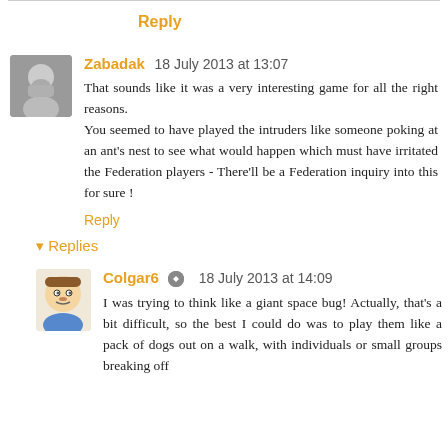Thanks, Grigorik. Glad you liked it.
Reply
Zabadak 18 July 2013 at 13:07
That sounds like it was a very interesting game for all the right reasons.
You seemed to have played the intruders like someone poking at an ant's nest to see what would happen which must have irritated the Federation players - There'll be a Federation inquiry into this for sure !
Reply
Replies
Colgar6 18 July 2013 at 14:09
I was trying to think like a giant space bug! Actually, that's a bit difficult, so the best I could do was to play them like a pack of dogs out on a walk, with individuals or small groups breaking off